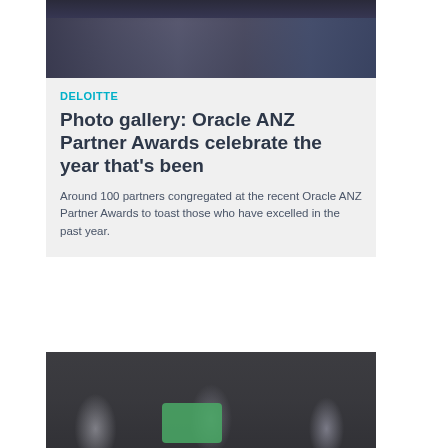[Figure (photo): Group photo of approximately 20 people in formal business attire standing together at the Oracle ANZ Partner Awards event]
DELOITTE
Photo gallery: Oracle ANZ Partner Awards celebrate the year that's been
Around 100 partners congregated at the recent Oracle ANZ Partner Awards to toast those who have excelled in the past year.
[Figure (photo): Aerial view of people around a dark table assembling green and white puzzle pieces, representing collaboration and teamwork]